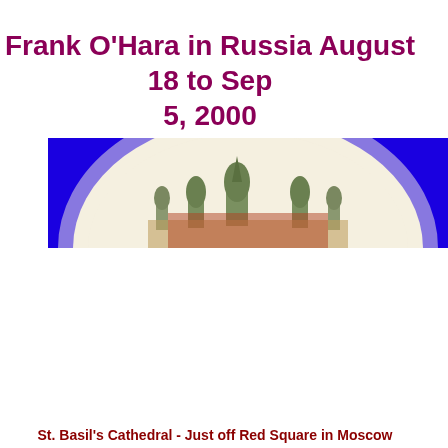Frank O'Hara in Russia August 18 to Sep 5, 2000
[Figure (photo): St. Basil's Cathedral with blue background and circular white/cream vignette framing, showing the iconic onion domes of the cathedral in Moscow]
St. Basil's Cathedral - Just off Red Square in Moscow